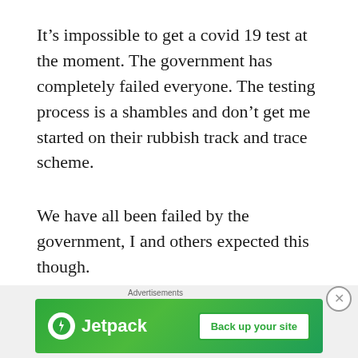It’s impossible to get a covid 19 test at the moment. The government has completely failed everyone. The testing process is a shambles and don’t get me started on their rubbish track and trace scheme.
We have all been failed by the government, I and others expected this though.
In other news, my local hospital Tameside Hospital has been in the news again.
Sadly its a hotbed for covid 19 and patients on
[Figure (screenshot): Jetpack advertisement banner with green background, Jetpack logo (white circle with lightning bolt), brand name 'Jetpack', and 'Back up your site' button]
Advertisements